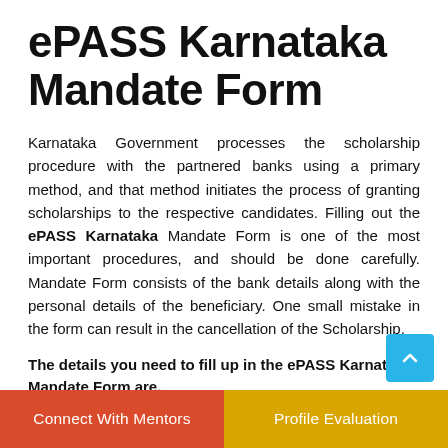ePASS Karnataka Mandate Form
Karnataka Government processes the scholarship procedure with the partnered banks using a primary method, and that method initiates the process of granting scholarships to the respective candidates. Filling out the ePASS Karnataka Mandate Form is one of the most important procedures, and should be done carefully. Mandate Form consists of the bank details along with the personal details of the beneficiary. One small mistake in the form can result in the cancellation of the Scholarship.
The details you need to fill up in the ePASS Karnataka Mandate Form are,
Name of the Recipient.
Connect With Mentors   Profile Evaluation